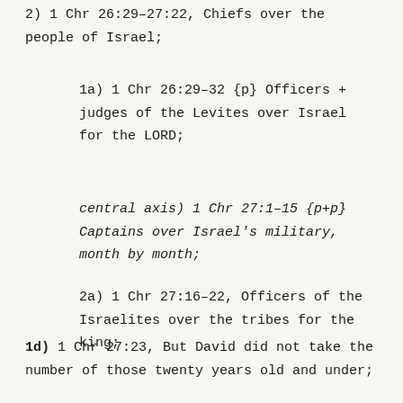2) 1 Chr 26:29-27:22, Chiefs over the people of Israel;
1a) 1 Chr 26:29-32 {p} Officers + judges of the Levites over Israel for the LORD;
central axis) 1 Chr 27:1-15 {p+p} Captains over Israel's military, month by month;
2a) 1 Chr 27:16-22, Officers of the Israelites over the tribes for the king;
1d) 1 Chr 27:23, But David did not take the number of those twenty years old and under;